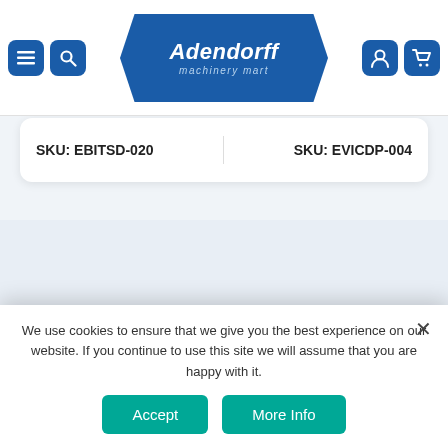Adendorff machinery mart
MAC AFRIC 14 Piece ... Drill Bit ... R 695.00
MAC AFRIC 400 mm Drill ...
SKU: EBITSD-020
SKU: EVICDP-004
Quick Links
About Us
Store Locator
We use cookies to ensure that we give you the best experience on our website. If you continue to use this site we will assume that you are happy with it.